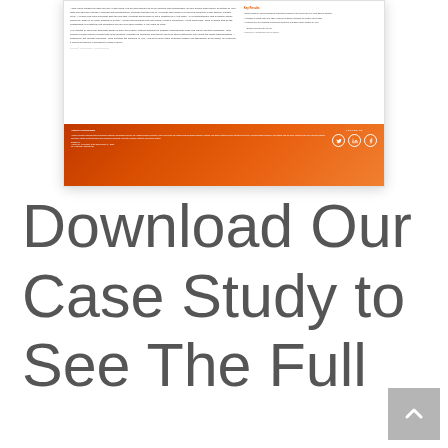[Figure (screenshot): A screenshot of a case study document page showing text content on the left, key results/bullet points on the right, and an orange/red gradient footer with social media icons (Twitter, LinkedIn, Facebook) and about/contact information.]
Download Our Case Study to See The Full
[Figure (other): A grey back-to-top button with an upward-pointing chevron arrow in the bottom right corner.]